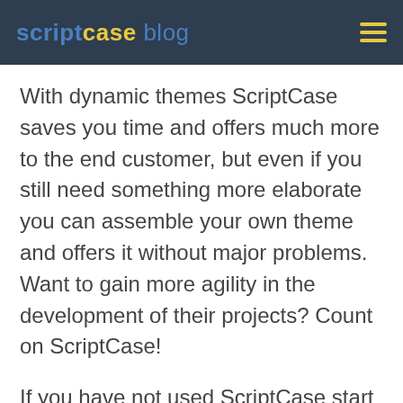scriptcase blog
With dynamic themes ScriptCase saves you time and offers much more to the end customer, but even if you still need something more elaborate you can assemble your own theme and offers it without major problems. Want to gain more agility in the development of their projects? Count on ScriptCase!
If you have not used ScriptCase start taking the first steps accessing the page ScriptCase Free Online Course with PHP and if you already use our web development tool